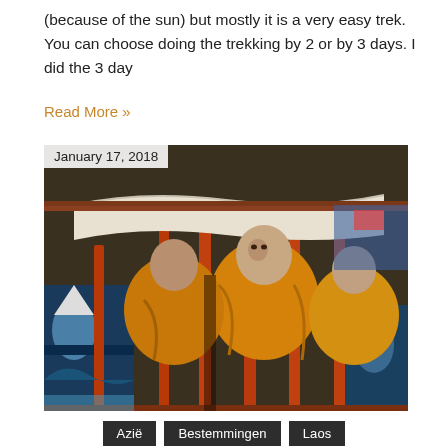(because of the sun) but mostly it is a very easy trek. You can choose doing the trekking by 2 or by 3 days. I did the 3 day
Read More »
[Figure (photo): Buddhist monks in yellow robes sitting inside a colorfully painted vehicle or bus, viewed through an open window frame with orange poles and a white canvas overhead]
January 17, 2018
Azië
Bestemmingen
Laos